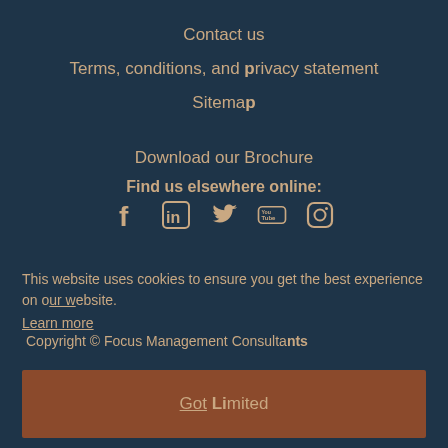Contact us
Terms, conditions, and privacy statement
Sitemap
Download our Brochure
Find us elsewhere online:
[Figure (infographic): Social media icons: Facebook, LinkedIn, Twitter, YouTube, Instagram]
This website uses cookies to ensure you get the best experience on our website.
Learn more
Copyright © Focus Management Consultants Limited
Got It